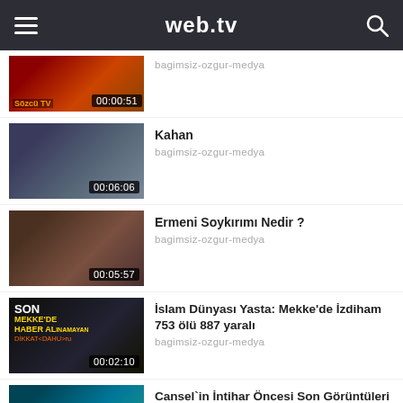web.tv
[Figure (screenshot): Video thumbnail with timestamp 00:00:51, red/orange background showing person at podium]
bagimsiz-ozgur-medya
[Figure (screenshot): Video thumbnail with timestamp 00:06:06, man in traditional dress on dark background]
Kahan
bagimsiz-ozgur-medya
[Figure (screenshot): Video thumbnail with timestamp 00:05:57, man's face on patterned background]
Ermeni Soykırımı Nedir ?
bagimsiz-ozgur-medya
[Figure (screenshot): Video thumbnail with timestamp 00:02:10, dark news background with MEKKE'DE text]
İslam Dünyası Yasta: Mekke'de İzdiham 753 ölü 887 yaralı
bagimsiz-ozgur-medya
[Figure (screenshot): Video thumbnail with timestamp 00:01:00, teal/blue background showing person]
Cansel`in İntihar Öncesi Son Görüntüleri
bagimsiz-ozgur-medya